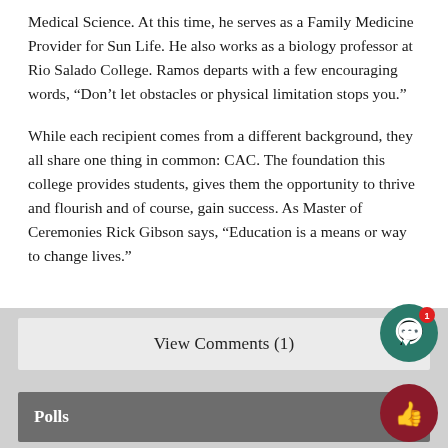Medical Science. At this time, he serves as a Family Medicine Provider for Sun Life. He also works as a biology professor at Rio Salado College. Ramos departs with a few encouraging words, “Don’t let obstacles or physical limitation stops you.”
While each recipient comes from a different background, they all share one thing in common: CAC. The foundation this college provides students, gives them the opportunity to thrive and flourish and of course, gain success. As Master of Ceremonies Rick Gibson says, “Education is a means or way to change lives.”
View Comments (1)
Polls